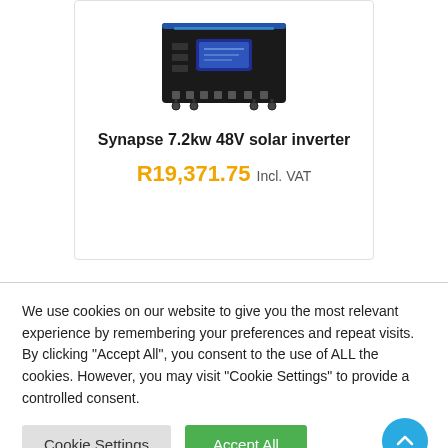[Figure (photo): Synapse 7.2kw 48V solar inverter product image showing a black inverter unit with a blue stripe at top and LCD display]
Synapse 7.2kw 48V solar inverter
R19,371.75 Incl. VAT
We use cookies on our website to give you the most relevant experience by remembering your preferences and repeat visits. By clicking "Accept All", you consent to the use of ALL the cookies. However, you may visit "Cookie Settings" to provide a controlled consent.
Cookie Settings | Accept All